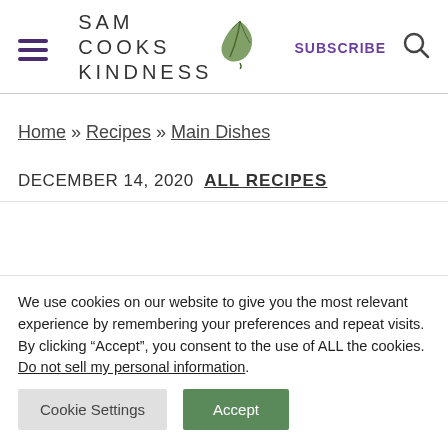SAM COOKS KINDNESS | SUBSCRIBE
Home » Recipes » Main Dishes
DECEMBER 14, 2020 ALL RECIPES
We use cookies on our website to give you the most relevant experience by remembering your preferences and repeat visits. By clicking “Accept”, you consent to the use of ALL the cookies. Do not sell my personal information.
Cookie Settings | Accept